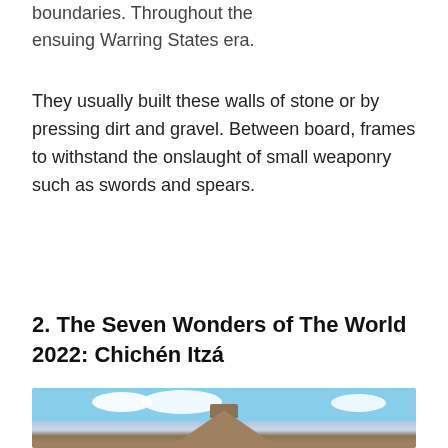boundaries. Throughout the ensuing Warring States era.
They usually built these walls of stone or by pressing dirt and gravel. Between board, frames to withstand the onslaught of small weaponry such as swords and spears.
2. The Seven Wonders of The World 2022: Chichén Itzá
[Figure (photo): Photograph of the Chichén Itzá pyramid (El Castillo / Temple of Kukulcán) against a blue sky with white clouds.]